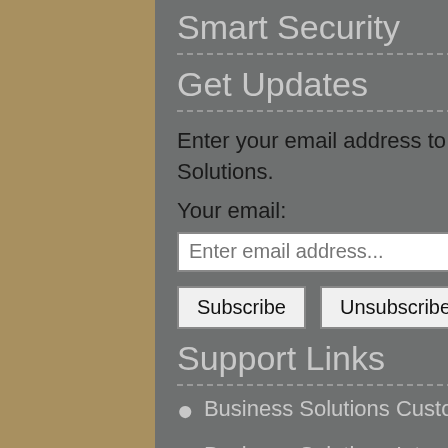Smart Security
Get Updates
Enter your email address to get updates from Business Solutions.
Your email:
[Figure (other): Email input field with placeholder 'Enter email address...']
[Figure (other): Subscribe and Unsubscribe buttons]
Support Links
Business Solutions Customer Portal
Business Solutions Interaction
Business Solutions Support